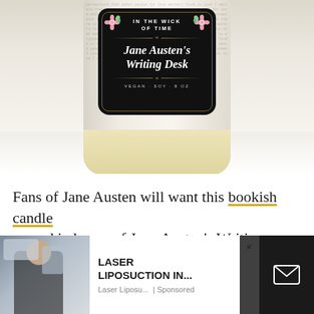[Figure (photo): A glass jar candle with a black decorative label reading 'IN THE WICK OF TIME – Jane Austen's Writing Desk – VEGAN · SOY · 8 OZ'. The jar has cursive script text on its outer surface. The candle sits on a white marble surface.]
Fans of Jane Austen will want this bookish candle named in honor of Jane Austen's Writing Desk. It
[Figure (photo): Advertisement overlay showing a person receiving laser liposuction treatment, with ad text 'LASER LIPOSUCTION IN...' and 'Laser Liposu... | Sponsored']